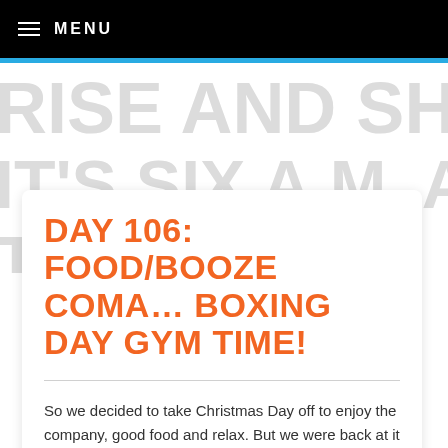MENU
[Figure (other): Large decorative background text showing partial phrases: 'RISE AND SHIN...', 'IT'S SIX A.M. AND YOUR HA...', 'TOO EARLY...' in light gray bold font]
DAY 106: FOOD/BOOZE COMA… BOXING DAY GYM TIME!
So we decided to take Christmas Day off to enjoy the company, good food and relax. But we were back at it Boxing Day morning.